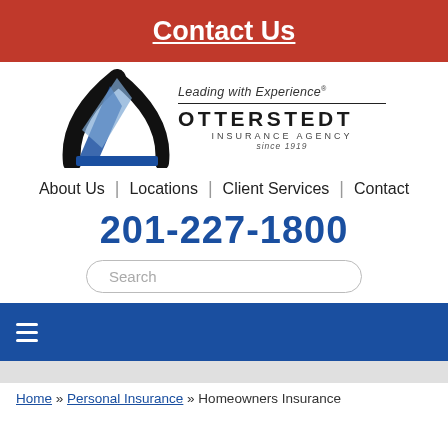Contact Us
[Figure (logo): Otterstedt Insurance Agency logo with stylized X graphic and text 'Leading with Experience / OTTERSTEDT / INSURANCE AGENCY / since 1919']
About Us | Locations | Client Services | Contact
201-227-1800
Search
≡
Home » Personal Insurance » Homeowners Insurance